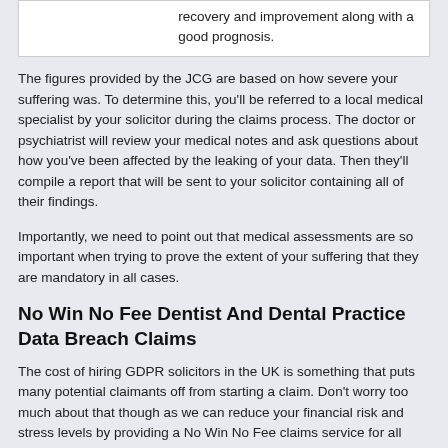| recovery and improvement along with a good prognosis. |
The figures provided by the JCG are based on how severe your suffering was. To determine this, you'll be referred to a local medical specialist by your solicitor during the claims process. The doctor or psychiatrist will review your medical notes and ask questions about how you've been affected by the leaking of your data. Then they'll compile a report that will be sent to your solicitor containing all of their findings.
Importantly, we need to point out that medical assessments are so important when trying to prove the extent of your suffering that they are mandatory in all cases.
No Win No Fee Dentist And Dental Practice Data Breach Claims
The cost of hiring GDPR solicitors in the UK is something that puts many potential claimants off from starting a claim. Don't worry too much about that though as we can reduce your financial risk and stress levels by providing a No Win No Fee claims service for all